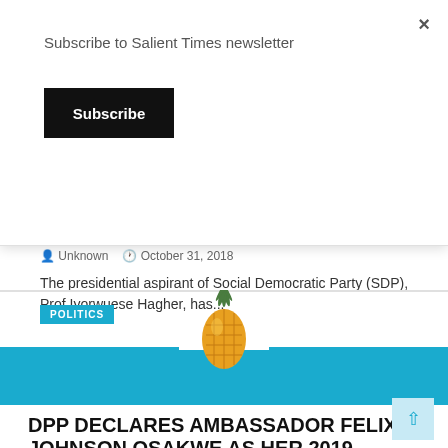Subscribe to Salient Times newsletter
Subscribe
community six times
Unknown   October 31, 2018
The presidential aspirant of Social Democratic Party (SDP), Prof Iyorwuese Hagher, has...
POLITICS
[Figure (illustration): A pineapple fruit on a light blue banner with a white arch cutout]
DPP DECLARES AMBASSADOR FELIX JOHNSON OSAKWE AS HER 2019